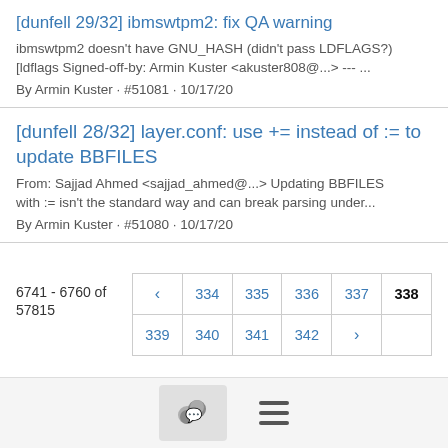[dunfell 29/32] ibmswtpm2: fix QA warning
ibmswtpm2 doesn't have GNU_HASH (didn't pass LDFLAGS?) [ldflags Signed-off-by: Armin Kuster <akuster808@...> --- ...
By Armin Kuster · #51081 · 10/17/20
[dunfell 28/32] layer.conf: use += instead of := to update BBFILES
From: Sajjad Ahmed <sajjad_ahmed@...> Updating BBFILES with := isn't the standard way and can break parsing under...
By Armin Kuster · #51080 · 10/17/20
6741 - 6760 of 57815
| ‹ | 334 | 335 | 336 | 337 | 338 |
| 339 | 340 | 341 | 342 | › |  |